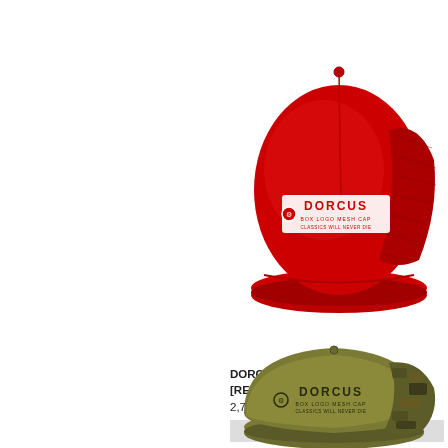[Figure (photo): Red Dorcus Box Logo Mesh Cap, front-angled view, red with white logo on front panel and mesh back]
DORCUS BOX LOGO MESH CAP [RED]
2,750円(税250円)
SOLD OUT
[Figure (photo): Olive/camo Dorcus Box Logo Mesh Cap, front-angled view, olive green front with camouflage mesh back and dark logo]